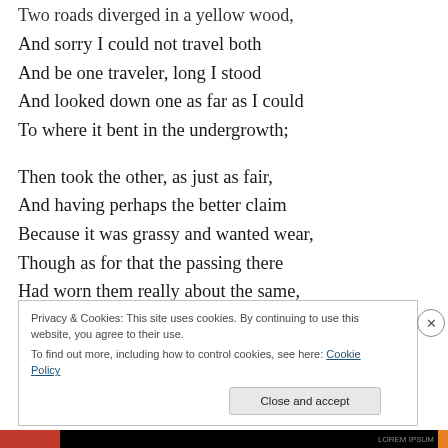Two roads diverged in a yellow wood,
And sorry I could not travel both
And be one traveler, long I stood
And looked down one as far as I could
To where it bent in the undergrowth;

Then took the other, as just as fair,
And having perhaps the better claim
Because it was grassy and wanted wear,
Though as for that the passing there
Had worn them really about the same,
Privacy & Cookies: This site uses cookies. By continuing to use this website, you agree to their use.
To find out more, including how to control cookies, see here: Cookie Policy